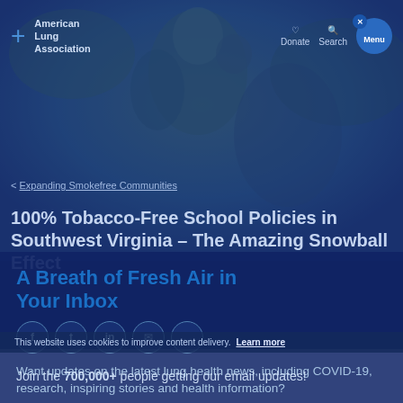[Figure (screenshot): American Lung Association website screenshot showing navigation bar with logo, Donate, Search and Menu buttons, a hero photo of people with a blue overlay, breadcrumb navigation '< Expanding Smokefree Communities', and overlapping article title '100% Tobacco-Free School Policies in Southwest Virginia – The Amazing Snowball Effect', with a newsletter modal 'A Breath of Fresh Air in Your Inbox', social sharing icons, newsletter body text, cookie bar, and email sign-up box.]
American Lung Association | Donate | Search | Menu
< Expanding Smokefree Communities
100% Tobacco-Free School Policies in Southwest Virginia - The Amazing Snowball Effect
A Breath of Fresh Air in Your Inbox
Want updates on the latest lung health news, including COVID-19, research, inspiring stories and health information?
This website uses cookies to improve content delivery. Learn more
Join the 700,000+ people getting our email updates!